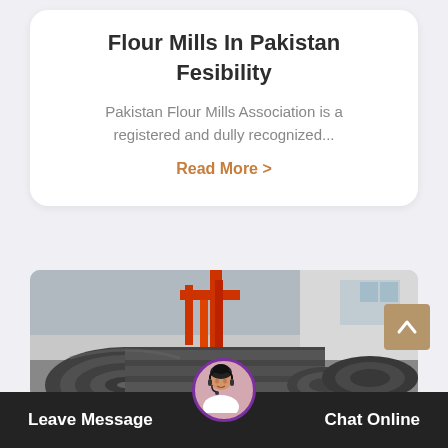Flour Mills In Pakistan Fesibility
Pakistan Flour Mills Association is a registered and dully recognized...
Read More >
[Figure (photo): Industrial steel coil rolls at a factory site with red crane structure and building in background]
Leave Message
Chat Online